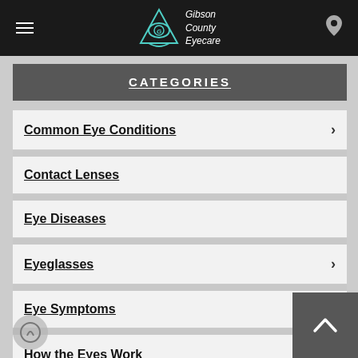[Figure (logo): Gibson County Eyecare logo with teal eye/triangle icon and stylized text]
CATEGORIES
Common Eye Conditions
Contact Lenses
Eye Diseases
Eyeglasses
Eye Symptoms
How the Eyes Work